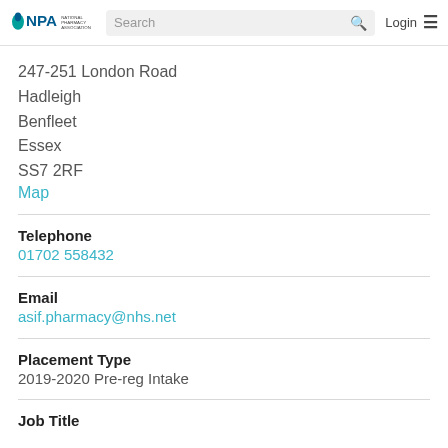NPA National Pharmacy Association | Search | Login
247-251 London Road
Hadleigh
Benfleet
Essex
SS7 2RF
Map
Telephone
01702 558432
Email
asif.pharmacy@nhs.net
Placement Type
2019-2020 Pre-reg Intake
Job Title